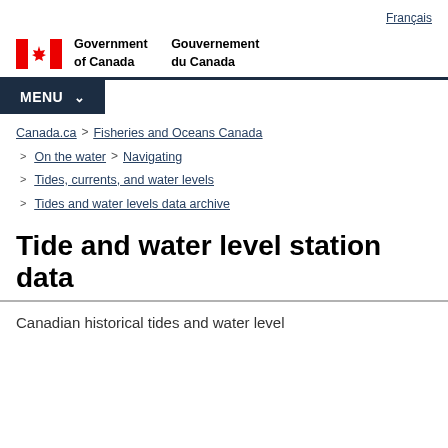Français
[Figure (logo): Government of Canada / Gouvernement du Canada logo with Canadian flag maple leaf symbol]
MENU
Canada.ca > Fisheries and Oceans Canada
> On the water > Navigating
> Tides, currents, and water levels
> Tides and water levels data archive
Tide and water level station data
Canadian historical tides and water level